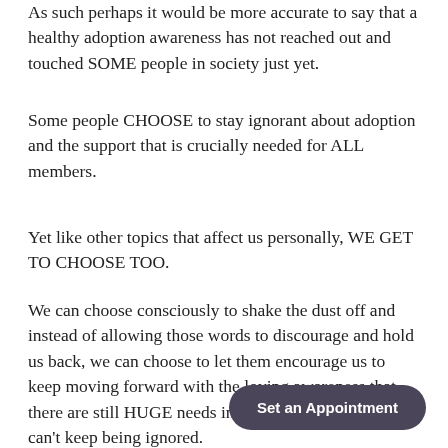As such perhaps it would be more accurate to say that a healthy adoption awareness has not reached out and touched SOME people in society just yet.
Some people CHOOSE to stay ignorant about adoption and the support that is crucially needed for ALL members.
Yet like other topics that affect us personally, WE GET TO CHOOSE TOO.
We can choose consciously to shake the dust off and instead of allowing those words to discourage and hold us back, we can choose to let them encourage us to keep moving forward with the loving awareness that there are still HUGE needs in the adoption world that can't keep being ignored.
Set an Appointment